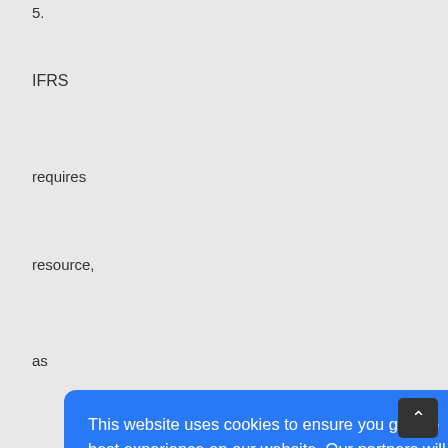5.
IFRS
requires
resource,
as
This website uses cookies to ensure you get the best experience on our website. Our partners will collect data and use cookies for ad personalization and measurement.
Learn how we and our partners collect and use data.
OK